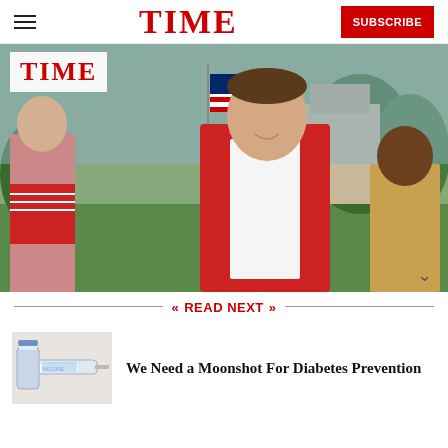TIME — SUBSCRIBE
[Figure (photo): Man in red blazer with American flag at outdoor event; TIME magazine logo overlay in top-left corner; woman in patriotic dress and man in background]
READ NEXT
[Figure (photo): Medical syringe and vaccine vial thumbnail image]
We Need a Moonshot For Diabetes Prevention